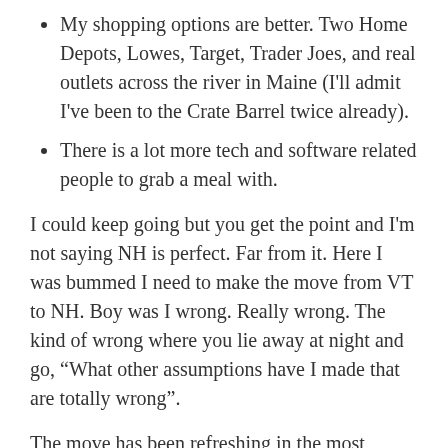My shopping options are better. Two Home Depots, Lowes, Target, Trader Joes, and real outlets across the river in Maine (I'll admit I've been to the Crate Barrel twice already).
There is a lot more tech and software related people to grab a meal with.
I could keep going but you get the point and I'm not saying NH is perfect. Far from it. Here I was bummed I need to make the move from VT to NH. Boy was I wrong. Really wrong. The kind of wrong where you lie away at night and go, “What other assumptions have I made that are totally wrong”.
The move has been refreshing in the most unexpected ways. More importantly it has challenged me to go look at my personal assumptions and go test them. Test them